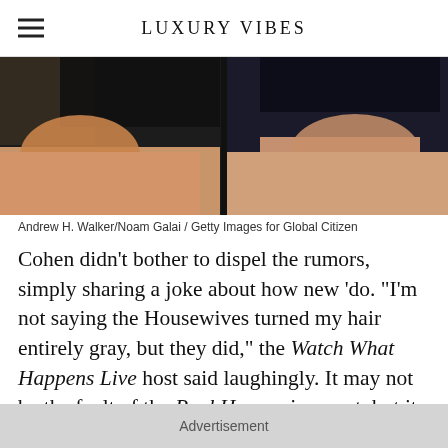LUXURY VIBES
[Figure (photo): Split photo showing two people, partially cropped, against a dark background — Andrew H. Walker and Noam Galai, Getty Images for Global Citizen]
Andrew H. Walker/Noam Galai / Getty Images for Global Citizen
Cohen didn't bother to dispel the rumors, simply sharing a joke about how new 'do. "I'm not saying the Housewives turned my hair entirely gray, but they did," the Watch What Happens Live host said laughingly. It may not be the fault of the Real Housewives cast, but it probably didn't help!
Advertisement